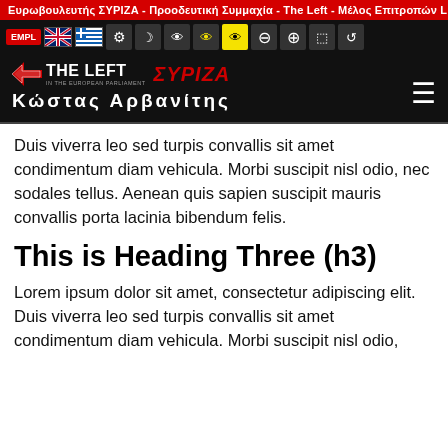Ευρωβουλευτής ΣΥΡΙΖΑ - Προοδευτική Συμμαχία - The Left - Μέλος Επιτροπών LIBE &
[Figure (screenshot): Accessibility toolbar with language flags (UK, Greece), and icon buttons for settings, dark mode, eye/visibility modes (including yellow highlight active), zoom out, zoom in, text resize, and undo on dark background]
[Figure (logo): THE LEFT in the European Parliament logo with red/white arrow icon, and SYRIZA logo in red italic text on dark background, with Greek name Κώστας Αρβανίτης in white bold letters below]
Duis viverra leo sed turpis convallis sit amet condimentum diam vehicula. Morbi suscipit nisl odio, nec sodales tellus. Aenean quis sapien suscipit mauris convallis porta lacinia bibendum felis.
This is Heading Three (h3)
Lorem ipsum dolor sit amet, consectetur adipiscing elit. Duis viverra leo sed turpis convallis sit amet condimentum diam vehicula. Morbi suscipit nisl odio,